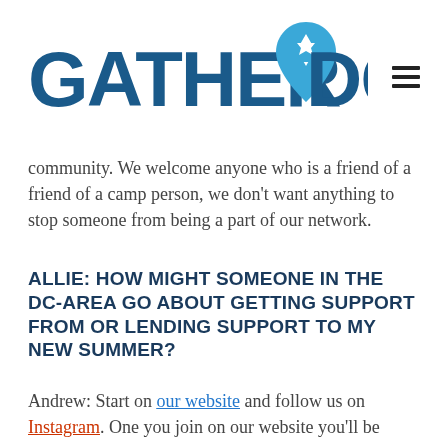[Figure (logo): GatherDC logo: text 'GATHER DC' in bold dark blue with a location pin icon containing a Star of David between 'GATHER' and 'DC']
community. We welcome anyone who is a friend of a friend of a camp person, we don't want anything to stop someone from being a part of our network.
ALLIE: HOW MIGHT SOMEONE IN THE DC-AREA GO ABOUT GETTING SUPPORT FROM OR LENDING SUPPORT TO MY NEW SUMMER?
Andrew: Start on our website and follow us on Instagram. One you join on our website you'll be connecting...